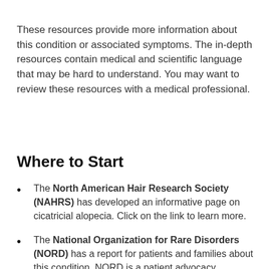These resources provide more information about this condition or associated symptoms. The in-depth resources contain medical and scientific language that may be hard to understand. You may want to review these resources with a medical professional.
Where to Start
The North American Hair Research Society (NAHRS) has developed an informative page on cicatricial alopecia. Click on the link to learn more.
The National Organization for Rare Disorders (NORD) has a report for patients and families about this condition. NORD is a patient advocacy organization for individuals with